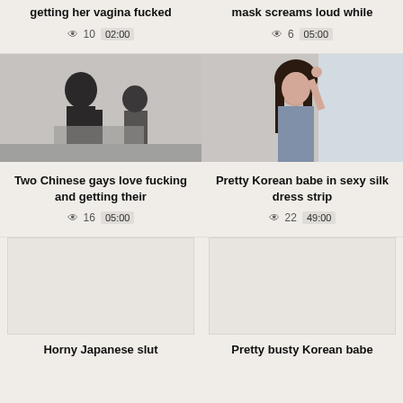getting her vagina fucked
mask screams loud while
👁 10  02:00
👁 6  05:00
[Figure (photo): Dark silhouette scene, two figures]
[Figure (photo): Young woman with dark hair touching her head, light background]
Two Chinese gays love fucking and getting their
Pretty Korean babe in sexy silk dress strip
👁 16  05:00
👁 22  49:00
[Figure (photo): Blank/loading thumbnail]
[Figure (photo): Blank/loading thumbnail]
Horny Japanese slut
Pretty busty Korean babe